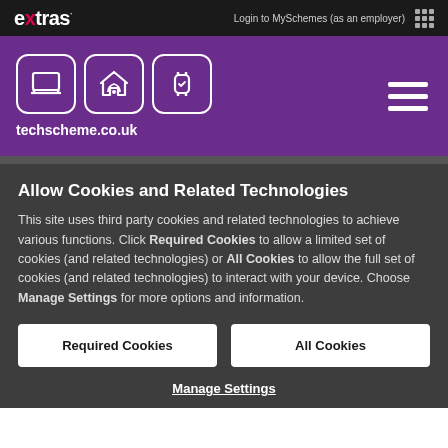extras | Login to MySchemes (as an employer)
[Figure (logo): techscheme.co.uk logo with three icons (laptop, home/wifi, smartwatch) in white rounded squares on purple background]
Allow Cookies and Related Technologies
This site uses third party cookies and related technologies to achieve various functions. Click Required Cookies to allow a limited set of cookies (and related technologies) or All Cookies to allow the full set of cookies (and related technologies) to interact with your device. Choose Manage Settings for more options and information.
Required Cookies
All Cookies
Manage Settings